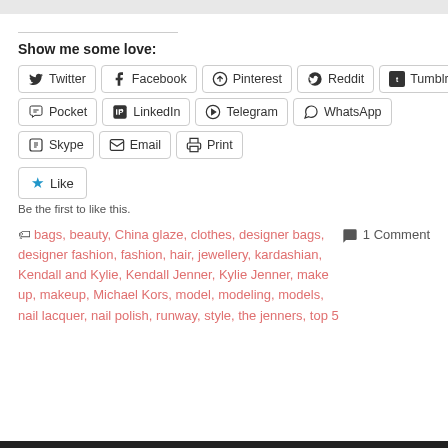Show me some love:
[Figure (infographic): Social share buttons: Twitter, Facebook, Pinterest, Reddit, Tumblr, Pocket, LinkedIn, Telegram, WhatsApp, Skype, Email, Print]
[Figure (infographic): Like button with star icon and text: Be the first to like this.]
bags, beauty, China glaze, clothes, designer bags, designer fashion, fashion, hair, jewellery, kardashian, Kendall and Kylie, Kendall Jenner, Kylie Jenner, make up, makeup, Michael Kors, model, modeling, models, nail lacquer, nail polish, runway, style, the jenners, top 5
1 Comment